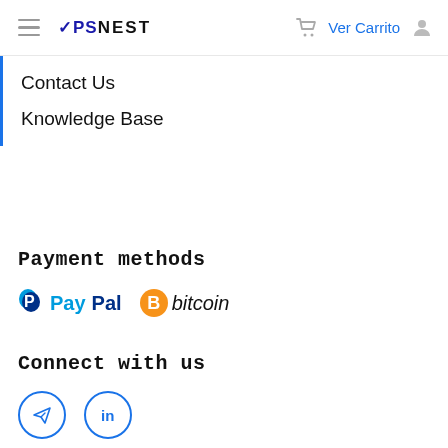VPSNEST  Ver Carrito
Contact Us
Knowledge Base
Payment methods
[Figure (logo): PayPal logo and Bitcoin logo side by side as accepted payment methods]
Connect with us
[Figure (other): Telegram and LinkedIn social media icons in circular outlines]